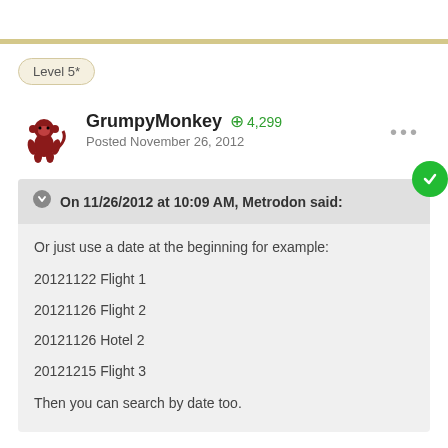Level 5*
GrumpyMonkey +4,299
Posted November 26, 2012
On 11/26/2012 at 10:09 AM, Metrodon said:
Or just use a date at the beginning for example:
20121122 Flight 1
20121126 Flight 2
20121126 Hotel 2
20121215 Flight 3
Then you can search by date too.